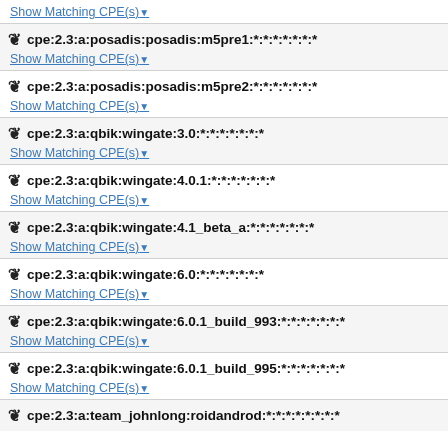Show Matching CPE(s)
cpe:2.3:a:posadis:posadis:m5pre1:*:*:*:*:*:*:*
Show Matching CPE(s)
cpe:2.3:a:posadis:posadis:m5pre2:*:*:*:*:*:*:*
Show Matching CPE(s)
cpe:2.3:a:qbik:wingate:3.0:*:*:*:*:*:*:*
Show Matching CPE(s)
cpe:2.3:a:qbik:wingate:4.0.1:*:*:*:*:*:*:*
Show Matching CPE(s)
cpe:2.3:a:qbik:wingate:4.1_beta_a:*:*:*:*:*:*:*
Show Matching CPE(s)
cpe:2.3:a:qbik:wingate:6.0:*:*:*:*:*:*:*
Show Matching CPE(s)
cpe:2.3:a:qbik:wingate:6.0.1_build_993:*:*:*:*:*:*:*
Show Matching CPE(s)
cpe:2.3:a:qbik:wingate:6.0.1_build_995:*:*:*:*:*:*:*
Show Matching CPE(s)
cpe:2.3:a:team_johnlong:roidandrod:*:*:*:*:*:*:*:*